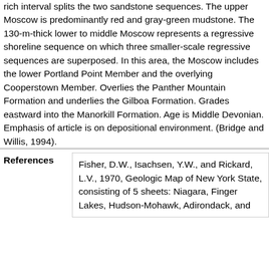rich interval splits the two sandstone sequences. The upper Moscow is predominantly red and gray-green mudstone. The 130-m-thick lower to middle Moscow represents a regressive shoreline sequence on which three smaller-scale regressive sequences are superposed. In this area, the Moscow includes the lower Portland Point Member and the overlying Cooperstown Member. Overlies the Panther Mountain Formation and underlies the Gilboa Formation. Grades eastward into the Manorkill Formation. Age is Middle Devonian. Emphasis of article is on depositional environment. (Bridge and Willis, 1994).
References
Fisher, D.W., Isachsen, Y.W., and Rickard, L.V., 1970, Geologic Map of New York State, consisting of 5 sheets: Niagara, Finger Lakes, Hudson-Mohawk, Adirondack, and